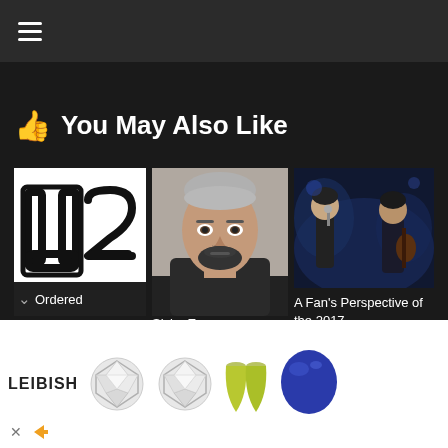Navigation bar with hamburger menu
👍 You May Also Like
[Figure (screenshot): U2 band logo in black outline on white background]
[Figure (photo): Mugshot-style photo of a man with silver/grey slicked hair and dark beard]
[Figure (photo): Two performers on stage, one at microphone, one playing guitar, dark blue stage lighting]
Ordered
Sicko Ex-
A Fan's Perspective of the 2017
[Figure (screenshot): LEIBISH advertisement showing diamond stud earrings, yellow-green gemstone drops, and a blue sapphire]